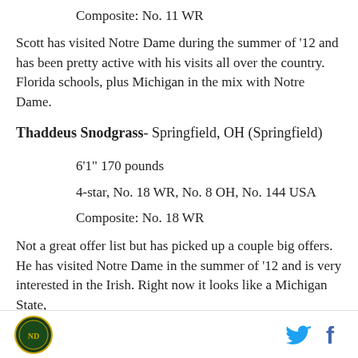Composite: No. 11 WR
Scott has visited Notre Dame during the summer of '12 and has been pretty active with his visits all over the country. Florida schools, plus Michigan in the mix with Notre Dame.
Thaddeus Snodgrass- Springfield, OH (Springfield)
6'1" 170 pounds
4-star, No. 18 WR, No. 8 OH, No. 144 USA
Composite: No. 18 WR
Not a great offer list but has picked up a couple big offers. He has visited Notre Dame in the summer of ‘12 and is very interested in the Irish. Right now it looks like a Michigan State,
[logo] [twitter] [facebook]